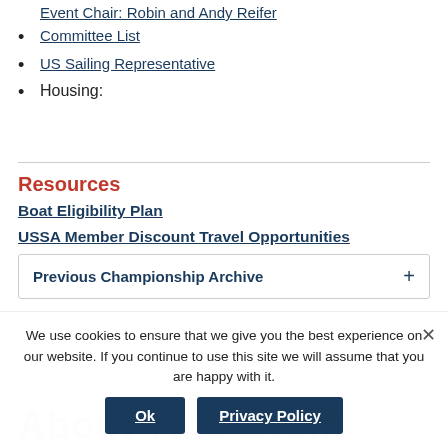Event Chair: Robin and Andy Reifer
Committee List
US Sailing Representative
Housing:
Resources
Boat Eligibility Plan
USSA Member Discount Travel Opportunities
Previous Championship Archive
We use cookies to ensure that we give you the best experience on our website. If you continue to use this site we will assume that you are happy with it.
Ok
Privacy Policy
About This Event